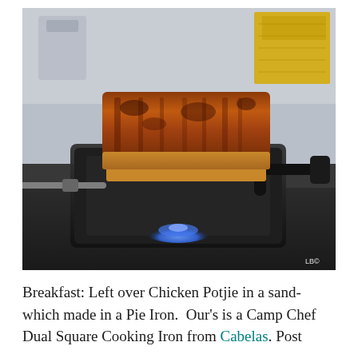[Figure (photo): A grilled sandwich made with leftover Chicken Potjie filling, toasted in a cast iron pie iron/sandwich maker sitting on a blue-flame camp stove burner. The sandwich is golden-brown and crispy. A watermark 'LB©' appears in the bottom-right corner of the photo.]
Breakfast: Left over Chicken Potjie in a sandwich made in a Pie Iron.  Our's is a Camp Chef Dual Square Cooking Iron from Cabelas. Post